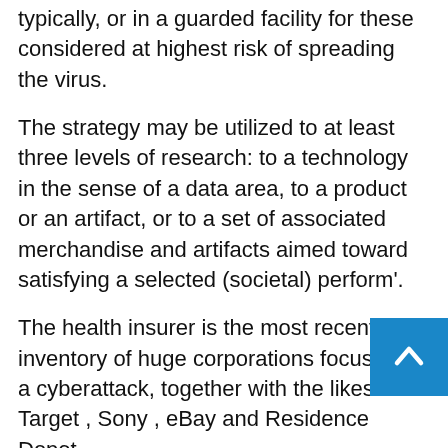typically, or in a guarded facility for these considered at highest risk of spreading the virus.
The strategy may be utilized to at least three levels of research: to a technology in the sense of a data area, to a product or an artifact, or to a set of associated merchandise and artifacts aimed toward satisfying a selected (societal) perform'.
The health insurer is the most recent in an inventory of huge corporations focused by a cyberattack, together with the likes of Target , Sony , eBay and Residence Depot.
wom finance adalah
Our technology innovation group works carefully with purchasers to help them ship life-altering medicines faster, more cost-effectively, and...